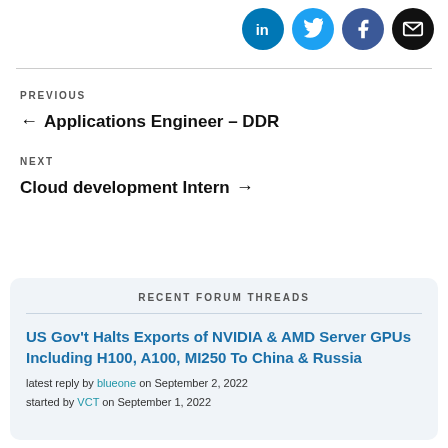[Figure (other): Social media share icons: LinkedIn (blue), Twitter (light blue), Facebook (dark blue), Email (black)]
PREVIOUS
← Applications Engineer – DDR
NEXT
Cloud development Intern →
RECENT FORUM THREADS
US Gov't Halts Exports of NVIDIA & AMD Server GPUs Including H100, A100, MI250 To China & Russia
latest reply by blueone on September 2, 2022
started by VCT on September 1, 2022